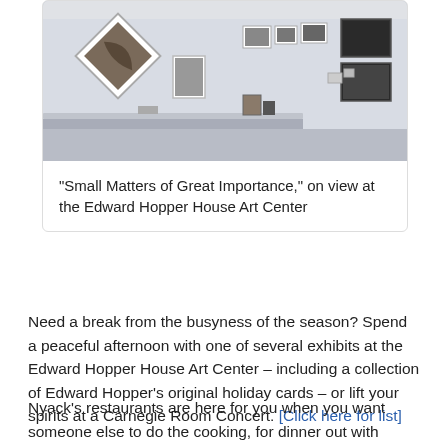[Figure (photo): Interior of an art gallery showing framed artworks hung on white walls, with a display shelf and various small framed pieces]
“Small Matters of Great Importance,” on view at the Edward Hopper House Art Center
Need a break from the busyness of the season? Spend a peaceful afternoon with one of several exhibits at the Edward Hopper House Art Center – including a collection of Edward Hopper’s original holiday cards – or lift your spirits at a Carnegie Room Concert. [Click here for list]
Nyack’s restaurants are here for you when you want someone else to do the cooking, for dinner out with friends, or for a festive family gathering. And our nightlife is the best